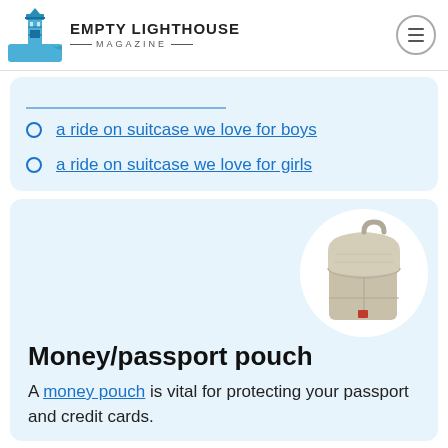EMPTY LIGHTHOUSE MAGAZINE
a ride on suitcase we love for boys
a ride on suitcase we love for girls
[Figure (photo): A gray/beige money/passport neck pouch with flap closure and strap, displayed on a white circular background]
Money/passport pouch
A money pouch is vital for protecting your passport and credit cards.